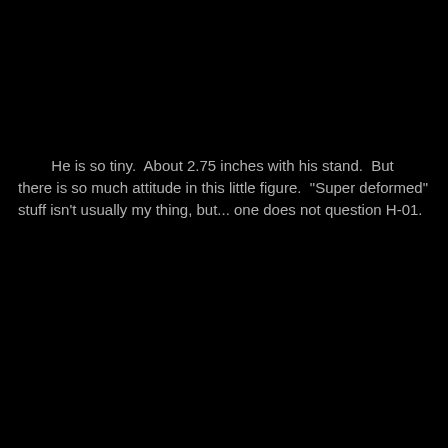He is so tiny.  About 2.75 inches with his stand.  But there is so much attitude in this little figure.  "Super deformed" stuff isn't usually my thing, but... one does not question H-01.